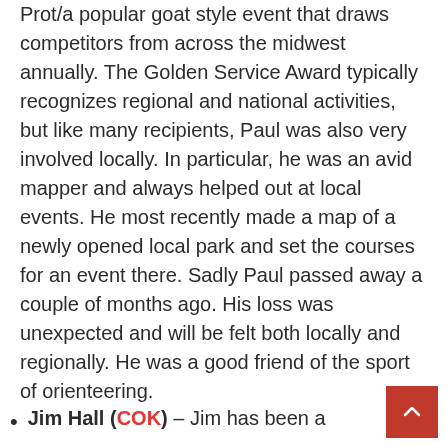Prot/a popular goat style event that draws competitors from across the midwest annually. The Golden Service Award typically recognizes regional and national activities, but like many recipients, Paul was also very involved locally. In particular, he was an avid mapper and always helped out at local events. He most recently made a map of a newly opened local park and set the courses for an event there. Sadly Paul passed away a couple of months ago. His loss was unexpected and will be felt both locally and regionally. He was a good friend of the sport of orienteering.
Jim Hall (COK) – Jim has been a